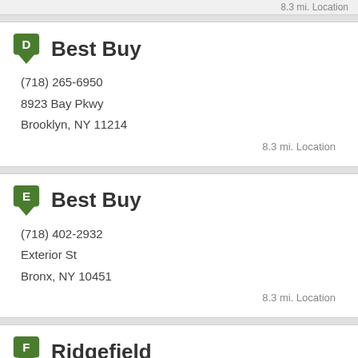8.3 mi. Location
Best Buy
(718) 265-6950
8923 Bay Pkwy
Brooklyn, NY 11214
8.3 mi. Location
Best Buy
(718) 402-2932
Exterior St
Bronx, NY 10451
8.3 mi. Location
Ridgefield
201-945-5319
515 Church Street